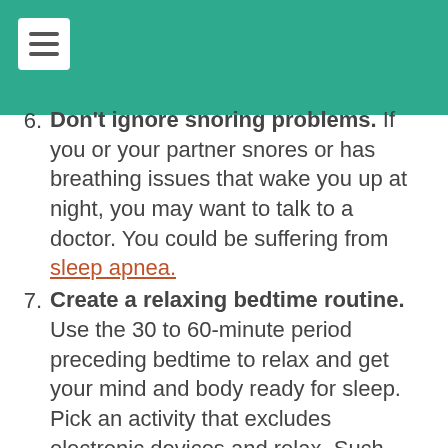6. Don't ignore snoring problems. If you or your partner snores or has breathing issues that wake you up at night, you may want to talk to a doctor. You could be suffering from sleep apnea.
7. Create a relaxing bedtime routine. Use the 30 to 60-minute period preceding bedtime to relax and get your mind and body ready for sleep. Pick an activity that excludes electronic devices and relax. Such activities can include meditation, light yoga stretches, breathing exercises, reading or taking a relaxing bath.
8. Avoid caffeine, alcohol, and heavy meals. Stay away from these at least 3 to 4 hours before bedtime. Although you may think that a glass of wine relaxes you, it can cause you to wake up in the middle of the night. Read more about the effects of alcohol on sleep here.